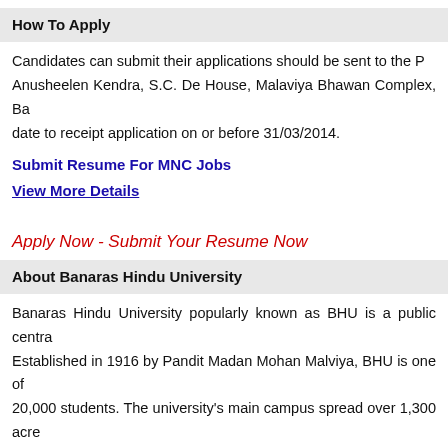How To Apply
Candidates can submit their applications should be sent to the P Anusheelen Kendra, S.C. De House, Malaviya Bhawan Complex, Ba date to receipt application on or before 31/03/2014.
Submit Resume For MNC Jobs
View More Details
Apply Now - Submit Your Resume Now
About Banaras Hindu University
Banaras Hindu University popularly known as BHU is a public centra Established in 1916 by Pandit Madan Mohan Malviya, BHU is one of 20,000 students. The university's main campus spread over 1,300 acre hereditary ruler of Banaras. The Rajiv Gandhi South Campus, spread located in Barkachha in Mirzapur district, about 60 km from Banaras. Bihar.